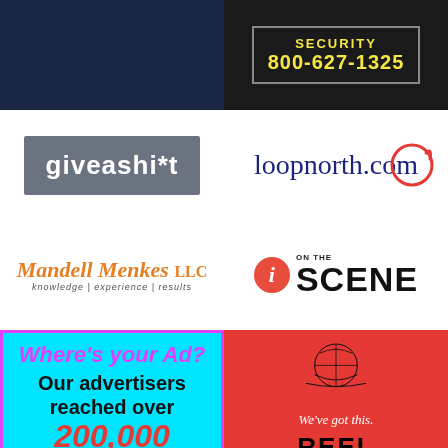[Figure (logo): Dark navy blue rectangular logo, plain background]
[Figure (logo): Security ad with text SECURITY 800-627-1325 in yellow on black background]
[Figure (logo): giveashi*t logo — white text on gray background]
[Figure (logo): loopnorth.com logo in dark blue serif font with red loop graphic on white background]
[Figure (logo): Mandell Menkes LLC logo in orange italic serif font with tagline 'knowledge | experience | results']
[Figure (logo): i ON THE SCENE logo with red circle i and bold black SCENE text]
[Figure (infographic): Cyan ad box with magenta border: Where's your Ad? Our advertisers reached over 200,000 (strikethrough 100,000) views last month]
[Figure (logo): Reel 360 ad on red background with globe illustration and text We've got this. REEL 360]